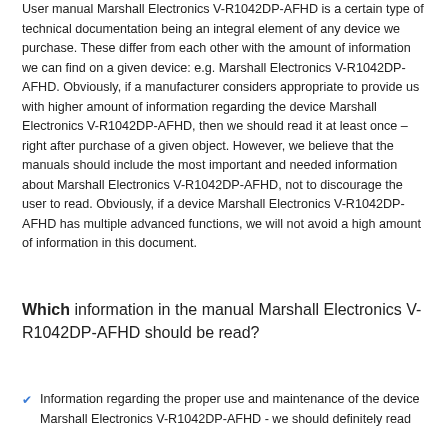User manual Marshall Electronics V-R1042DP-AFHD is a certain type of technical documentation being an integral element of any device we purchase. These differ from each other with the amount of information we can find on a given device: e.g. Marshall Electronics V-R1042DP-AFHD. Obviously, if a manufacturer considers appropriate to provide us with higher amount of information regarding the device Marshall Electronics V-R1042DP-AFHD, then we should read it at least once – right after purchase of a given object. However, we believe that the manuals should include the most important and needed information about Marshall Electronics V-R1042DP-AFHD, not to discourage the user to read. Obviously, if a device Marshall Electronics V-R1042DP-AFHD has multiple advanced functions, we will not avoid a high amount of information in this document.
Which information in the manual Marshall Electronics V-R1042DP-AFHD should be read?
Information regarding the proper use and maintenance of the device Marshall Electronics V-R1042DP-AFHD - we should definitely read